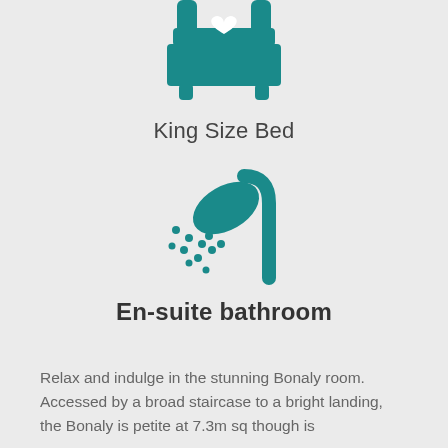[Figure (illustration): Teal icon of a king size bed with a heart symbol on the headboard]
King Size Bed
[Figure (illustration): Teal icon of a shower head with water droplets spraying]
En-suite bathroom
Relax and indulge in the stunning Bonaly room. Accessed by a broad staircase to a bright landing, the Bonaly is petite at 7.3m sq though is